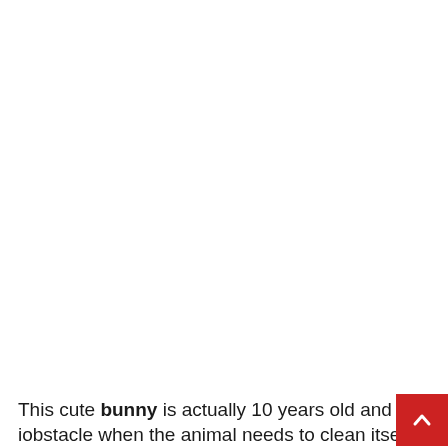This cute bunny is actually 10 years old and age is an obstacle when the animal needs to clean itself.